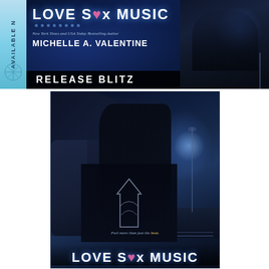[Figure (illustration): Book release blitz banner for 'Love Sex Music' by Michelle A. Valentine. Left strip has 'AVAILABLE NOW' text vertically on cyan/teal background. Main banner has dark blue background with couple embracing on right side. Text shows title 'LOVE SEX MUSIC' with decorative dots, subtitle 'New York Times and USA Today Bestselling Author', author name 'MICHELLE A. VALENTINE', and 'RELEASE BLITZ' bar at bottom.]
[Figure (illustration): Book cover for 'Love Sex Music' by Michelle A. Valentine. Shows a tattooed man embracing a dark-haired woman from behind on a stage concert setting. Bottom has tagline 'Feel more than just the beat.' and title 'LOVE SEX MUSIC' in large white letters.]